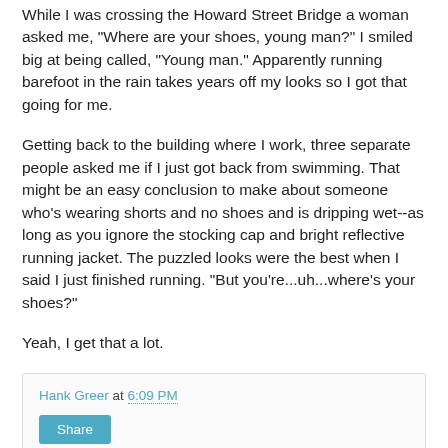While I was crossing the Howard Street Bridge a woman asked me, "Where are your shoes, young man?" I smiled big at being called, "Young man." Apparently running barefoot in the rain takes years off my looks so I got that going for me.
Getting back to the building where I work, three separate people asked me if I just got back from swimming. That might be an easy conclusion to make about someone who's wearing shorts and no shoes and is dripping wet--as long as you ignore the stocking cap and bright reflective running jacket. The puzzled looks were the best when I said I just finished running. "But you're...uh...where's your shoes?"
Yeah, I get that a lot.
Hank Greer at 6:09 PM
Share
No comments: